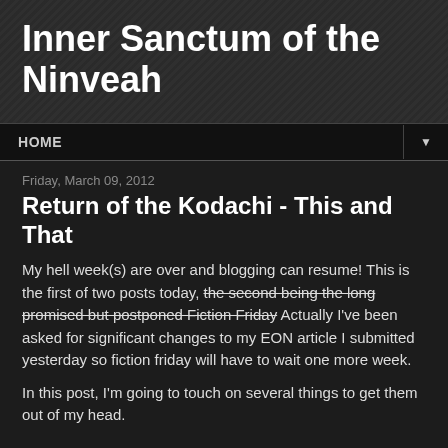Inner Sanctum of the Ninveah
HOME
Friday, March 09, 2012
Return of the Kodachi - This and That
My hell week(s) are over and blogging can resume! This is the first of two posts today, the second being the long promised but postponed Fiction Friday Actually I've been asked for significant changes to my EON article I submitted yesterday so fiction friday will have to wait one more week.
In this post, I'm going to touch on several things to get them out of my head.